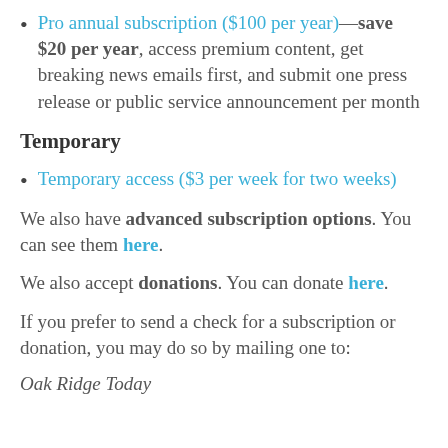Pro annual subscription ($100 per year)—save $20 per year, access premium content, get breaking news emails first, and submit one press release or public service announcement per month
Temporary
Temporary access ($3 per week for two weeks)
We also have advanced subscription options. You can see them here.
We also accept donations. You can donate here.
If you prefer to send a check for a subscription or donation, you may do so by mailing one to:
Oak Ridge Today